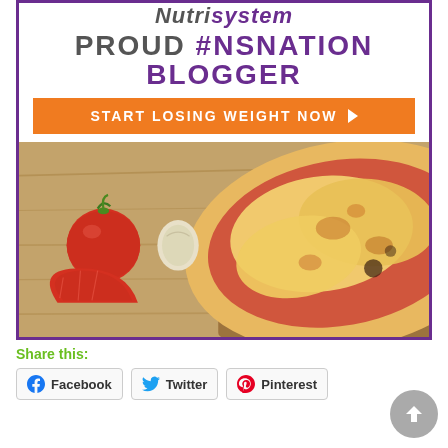[Figure (illustration): Nutrisystem promotional ad banner with logo, 'PROUD #NSNATION BLOGGER' headline, orange CTA button 'START LOSING WEIGHT NOW', and a food photo of pizza with tomatoes and garlic on a wooden board]
Share this:
Facebook  Twitter  Pinterest